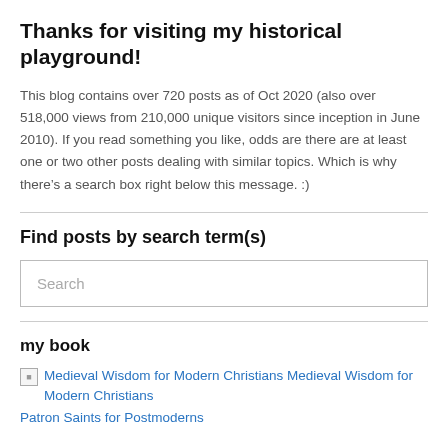Thanks for visiting my historical playground!
This blog contains over 720 posts as of Oct 2020 (also over 518,000 views from 210,000 unique visitors since inception in June 2010). If you read something you like, odds are there are at least one or two other posts dealing with similar topics. Which is why there’s a search box right below this message. :)
Find posts by search term(s)
Search
my book
Medieval Wisdom for Modern Christians Medieval Wisdom for Modern Christians
Patron Saints for Postmoderns